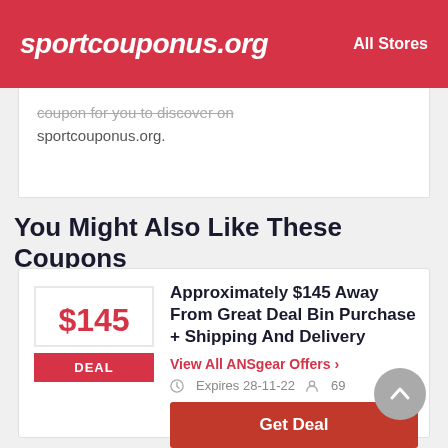sportcouponus.org  All Stores
coupon for you to discover on sportcouponus.org.
You Might Also Like These Coupons
$145 DEAL
Approximately $145 Away From Great Deal Bin Purchase + Shipping And Delivery
View All ANSgear Offers ›
Expires 28-11-22  69
Get Deal